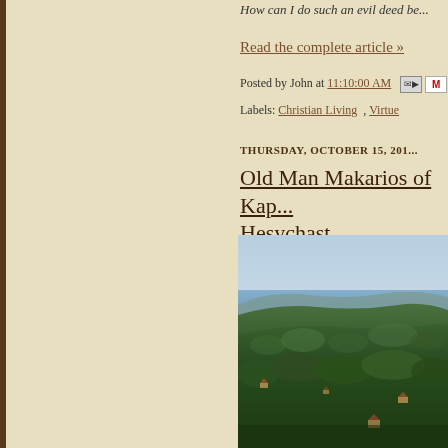How can I do such an evil deed be...
Read the complete article »
Posted by John at 11:10:00 AM
Labels: Christian Living , Virtue
THURSDAY, OCTOBER 15, 201...
Old Man Makarios of Kap... Hesychast
[Figure (photo): Aerial landscape view of forested hillside with sea in background and scattered buildings visible among trees]